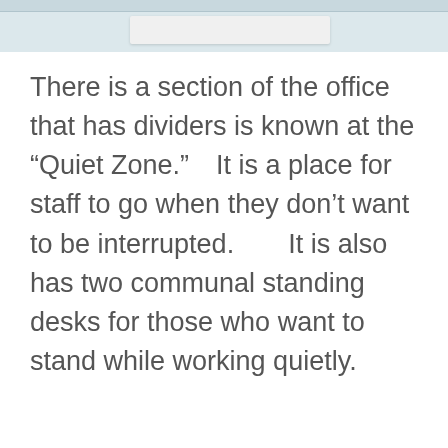[Figure (photo): Partial view of an office area with light blue/grey background, showing the bottom portion of what appears to be a desk or shelf object.]
There is a section of the office that has dividers is known at the “Quiet Zone.”  It is a place for staff to go when they don’t want to be interrupted.    It is also has two communal standing desks for those who want to stand while working quietly.